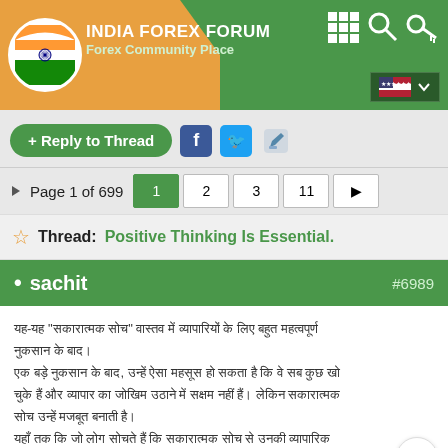INDIA FOREX FORUM - Forex Community Place
+ Reply to Thread
Page 1 of 699  1  2  3  11
Thread: Positive Thinking Is Essential.
sachit #6989
[Hindi text content - post body in Devanagari script]
Though trading on financial markets involves high risk, it can still generate extra income in case you apply the right approach. By choosing a reliable broker such as InstaForex you get access to the international financial markets and open your way towards financial independence. You can sign up here.